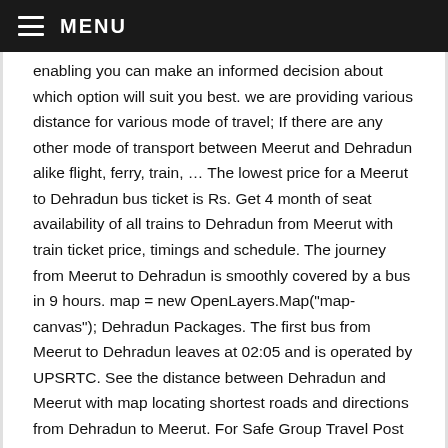MENU
enabling you can make an informed decision about which option will suit you best. we are providing various distance for various mode of travel; If there are any other mode of transport between Meerut and Dehradun alike flight, ferry, train, … The lowest price for a Meerut to Dehradun bus ticket is Rs. Get 4 month of seat availability of all trains to Dehradun from Meerut with train ticket price, timings and schedule. The journey from Meerut to Dehradun is smoothly covered by a bus in 9 hours. map = new OpenLayers.Map("map-canvas"); Dehradun Packages. The first bus from Meerut to Dehradun leaves at 02:05 and is operated by UPSRTC. See the distance between Dehradun and Meerut with map locating shortest roads and directions from Dehradun to Meerut. For Safe Group Travel Post Covid Click Here +91 96670 51161 +91 88877 80463; See the distance between Meerut and Dehradun with map locating shortest roads and directions from Meerut to Dehradun. Meerut To Dehradun Driving Directions: In this section travellers can find driving directions from Meerut to Dehradun, road map from Meerut to Dehradun, distance between Meerut to Dehradun and how much time cab/taxi will take to reach Dehradun from Meerut by road. Out of the 1 reviews